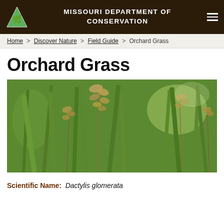MISSOURI DEPARTMENT OF CONSERVATION
Home > Discover Nature > Field Guide > Orchard Grass
Orchard Grass
[Figure (photo): Close-up photograph of Orchard Grass (Dactylis glomerata) plants with seed heads, green stems and leaves in the background]
Scientific Name: Dactylis glomerata